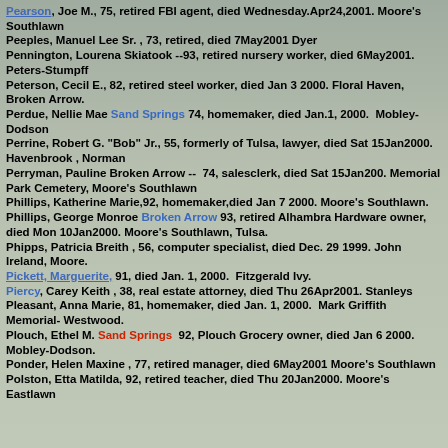Pearson, Joe M., 75, retired FBI agent, died Wednesday.Apr24,2001. Moore's Southlawn
Peeples, Manuel Lee Sr. , 73, retired, died 7May2001 Dyer
Pennington, Lourena Skiatook --93, retired nursery worker, died 6May2001. Peters-Stumpff
Peterson, Cecil E., 82, retired steel worker, died Jan 3 2000. Floral Haven, Broken Arrow.
Perdue, Nellie Mae Sand Springs 74, homemaker, died Jan.1, 2000. Mobley-Dodson
Perrine, Robert G. "Bob" Jr., 55, formerly of Tulsa, lawyer, died Sat 15Jan2000. Havenbrook , Norman
Perryman, Pauline Broken Arrow -- 74, salesclerk, died Sat 15Jan200. Memorial Park Cemetery, Moore's Southlawn
Phillips, Katherine Marie,92, homemaker,died Jan 7 2000. Moore's Southlawn.
Phillips, George Monroe Broken Arrow 93, retired Alhambra Hardware owner, died Mon 10Jan2000. Moore's Southlawn, Tulsa.
Phipps, Patricia Breith , 56, computer specialist, died Dec. 29 1999. John Ireland, Moore.
Pickett, Marguerite, 91, died Jan. 1, 2000. Fitzgerald Ivy.
Piercy, Carey Keith , 38, real estate attorney, died Thu 26Apr2001. Stanleys
Pleasant, Anna Marie, 81, homemaker, died Jan. 1, 2000. Mark Griffith Memorial- Westwood.
Plouch, Ethel M. Sand Springs 92, Plouch Grocery owner, died Jan 6 2000. Mobley-Dodson.
Ponder, Helen Maxine , 77, retired manager, died 6May2001 Moore's Southlawn
Polston, Etta Matilda, 92, retired teacher, died Thu 20Jan2000. Moore's Eastlawn